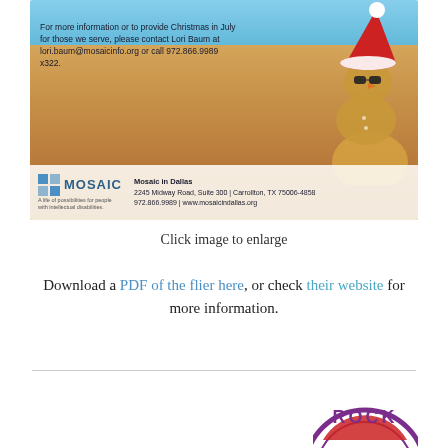[Figure (photo): Advertisement image for Mosaic in Dallas showing a sand snowman wearing a Santa hat and sunglasses on a beach, with text about Christmas in July program and contact information.]
Click image to enlarge
Download a PDF of the flier here, or check their website for more information.
[Figure (logo): Circular logo with 'ROCK' text visible at top, partially shown at bottom right of page.]